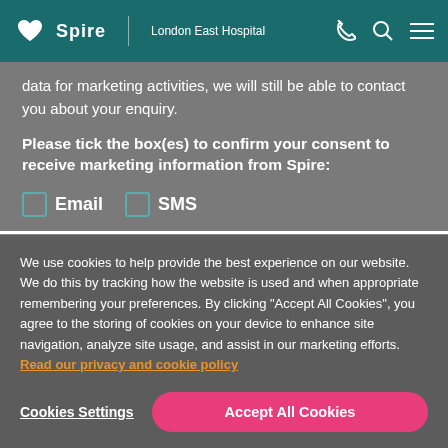Spire | London East Hospital
data for marketing activities, we will still be able to contact you about your enquiry.
Please tick the box(es) to confirm your consent to receive marketing information from Spire:
Email   SMS
We use cookies to help provide the best experience on our website. We do this by tracking how the website is used and when appropriate remembering your preferences. By clicking "Accept All Cookies", you agree to the storing of cookies on your device to enhance site navigation, analyze site usage, and assist in our marketing efforts. Read our privacy and cookie policy
Cookies Settings
Accept All Cookies